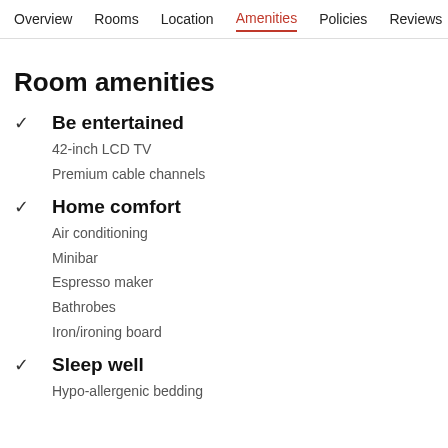Overview  Rooms  Location  Amenities  Policies  Reviews
Room amenities
Be entertained
42-inch LCD TV
Premium cable channels
Home comfort
Air conditioning
Minibar
Espresso maker
Bathrobes
Iron/ironing board
Sleep well
Hypo-allergenic bedding